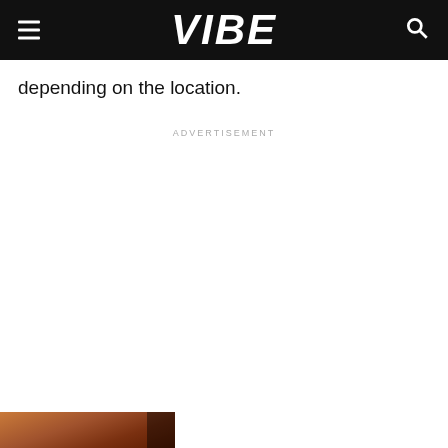VIBE
depending on the location.
ADVERTISEMENT
[Figure (photo): Bottom strip showing partial photo of a person, warm brown tones, partially cut off at bottom of page]